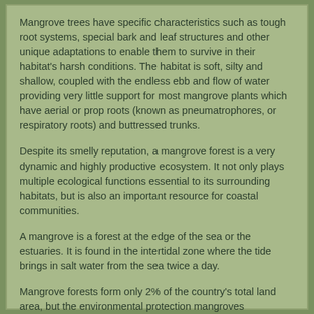Mangrove trees have specific characteristics such as tough root systems, special bark and leaf structures and other unique adaptations to enable them to survive in their habitat's harsh conditions. The habitat is soft, silty and shallow, coupled with the endless ebb and flow of water providing very little support for most mangrove plants which have aerial or prop roots (known as pneumatrophores, or respiratory roots) and buttressed trunks.
Despite its smelly reputation, a mangrove forest is a very dynamic and highly productive ecosystem. It not only plays multiple ecological functions essential to its surrounding habitats, but is also an important resource for coastal communities.
A mangrove is a forest at the edge of the sea or the estuaries. It is found in the intertidal zone where the tide brings in salt water from the sea twice a day.
Mangrove forests form only 2% of the country's total land area, but the environmental protection mangroves